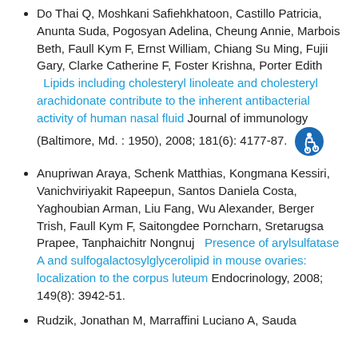Do Thai Q, Moshkani Safiehkhatoon, Castillo Patricia, Anunta Suda, Pogosyan Adelina, Cheung Annie, Marbois Beth, Faull Kym F, Ernst William, Chiang Su Ming, Fujii Gary, Clarke Catherine F, Foster Krishna, Porter Edith   Lipids including cholesteryl linoleate and cholesteryl arachidonate contribute to the inherent antibacterial activity of human nasal fluid Journal of immunology (Baltimore, Md. : 1950), 2008; 181(6): 4177-87.
Anupriwan Araya, Schenk Matthias, Kongmana Kessiri, Vanichviriyakit Rapeepun, Santos Daniela Costa, Yaghoubian Arman, Liu Fang, Wu Alexander, Berger Trish, Faull Kym F, Saitongdee Porncharn, Sretarugsa Prapee, Tanphaichitr Nongnuj   Presence of arylsulfatase A and sulfogalactosylglycerolipid in mouse ovaries: localization to the corpus luteum Endocrinology, 2008; 149(8): 3942-51.
Rudzik, Jonathan M, Marraffini Luciano A, Sauda...